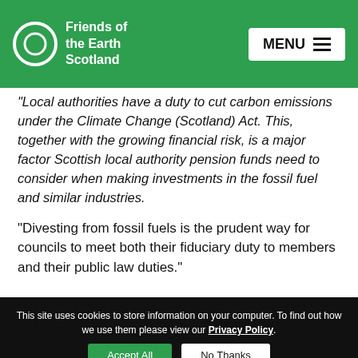Friends of the Earth Scotland | MENU
“Local authorities have a duty to cut carbon emissions under the Climate Change (Scotland) Act. This, together with the growing financial risk, is a major factor Scottish local authority pension funds need to consider when making investments in the fossil fuel and similar industries.
“Divesting from fossil fuels is the prudent way for councils to meet both their fiduciary duty to members and their public law duties.”
This site uses cookies to store information on your computer. To find out how we use them please view our Privacy Policy.